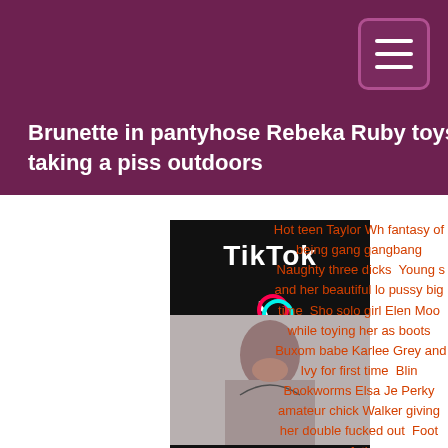Brunette in pantyhose Rebeka Ruby toys herself while taking a piss outdoors
[Figure (photo): TikTok advertisement banner with black background, TikTok logo and text 'TAP HERE' in white rectangle]
Ads by JuicyAds
[Figure (photo): Thumbnail image of a woman with dark hair looking downward]
Hot teen Taylor Wh fantasy of being gang gangbang  Naughty three dicks  Young s and her beautiful lo pussy big time  Sho solo girl Elen Moo while toying her as boots  Buxom babe Karlee Grey and Ivy for first time  Blin Bookworms Elsa Je Perky amateur chick Walker giving her double fucked out  Foot feti